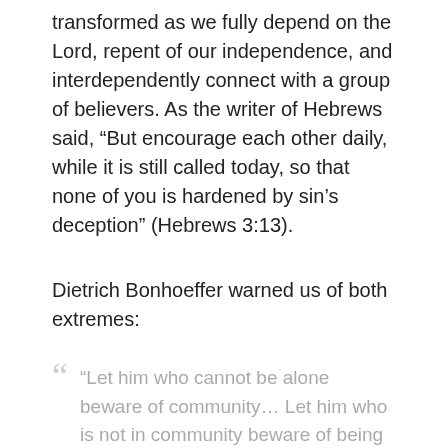transformed as we fully depend on the Lord, repent of our independence, and interdependently connect with a group of believers. As the writer of Hebrews said, “But encourage each other daily, while it is still called today, so that none of you is hardened by sin’s deception” (Hebrews 3:13).
Dietrich Bonhoeffer warned us of both extremes:
“Let him who cannot be alone beware of community… Let him who is not in community beware of being alone… Each by itself has profound perils and pitfalls. One who wants fellowship without solitude plunges into the void of words and feelings and the one who...